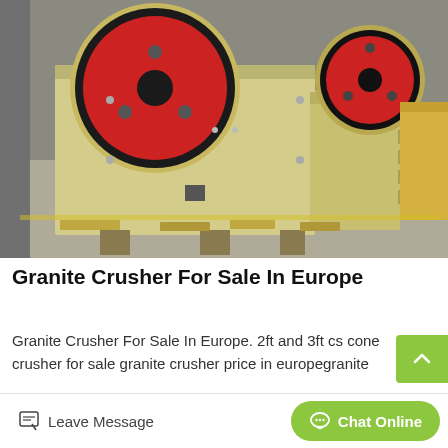[Figure (photo): Row of large industrial jaw crushers with yellow/cream painted bodies and red flywheel discs, photographed in a factory/warehouse setting on a concrete floor.]
Granite Crusher For Sale In Europe
Granite Crusher For Sale In Europe. 2ft and 3ft cs cone crusher for sale granite crusher price in europegranite